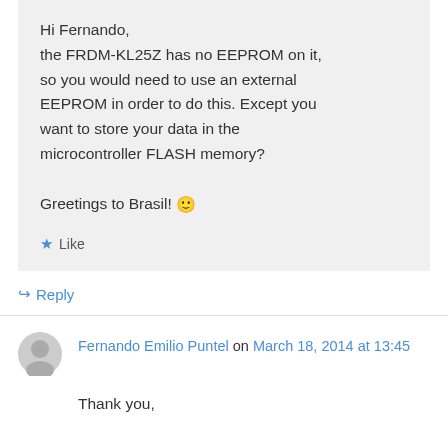Hi Fernando,
the FRDM-KL25Z has no EEPROM on it, so you would need to use an external EEPROM in order to do this. Except you want to store your data in the microcontroller FLASH memory?

Greetings to Brasil! 🙂
★ Like
↪ Reply
Fernando Emilio Puntel on March 18, 2014 at 13:45
Thank you,

If possible save data in memory FLASH, and